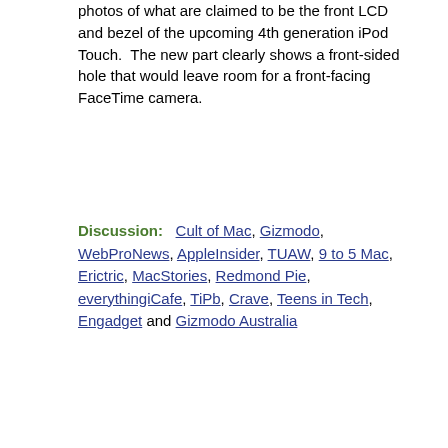photos of what are claimed to be the front LCD and bezel of the upcoming 4th generation iPod Touch.  The new part clearly shows a front-sided hole that would leave room for a front-facing FaceTime camera.
Discussion:  Cult of Mac, Gizmodo, WebProNews, AppleInsider, TUAW, 9 to 5 Mac, Erictric, MacStories, Redmond Pie, everythingiCafe, TiPb, Crave, Teens in Tech, Engadget and Gizmodo Australia
RELATED:
Machmeter / HardMac.com: Pictures of the iPod Touch 4... well, almost — As you may know, Apple provides some case manufacturers with the size and shape of the new iPhones and iPods so they can start making the new cases before the devices come out.  This doesn't
[Figure (photo): Photo of iPod Touch 4th generation showing front and back views of the device]